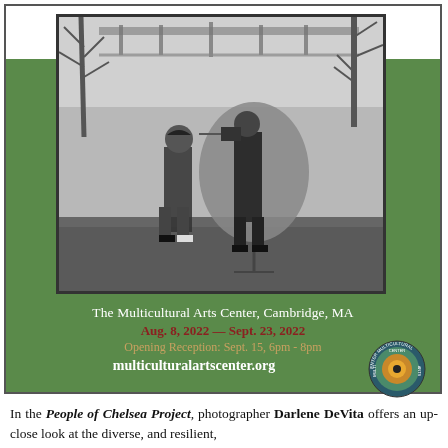[Figure (photo): Black and white photograph of two people outdoors near a bridge and river. One person is holding a camera photographing another who stands in front of a circular backdrop on a stand. Bare winter trees visible in background.]
The Multicultural Arts Center, Cambridge, MA
Aug. 8, 2022 — Sept. 23, 2022
Opening Reception: Sept. 15, 6pm - 8pm
multiculturalartscenter.org
[Figure (logo): Circular logo for Multicultural Arts Center with concentric rings in orange, green, and blue tones with text around the border.]
In the People of Chelsea Project, photographer Darlene DeVita offers an up-close look at the diverse, and resilient,